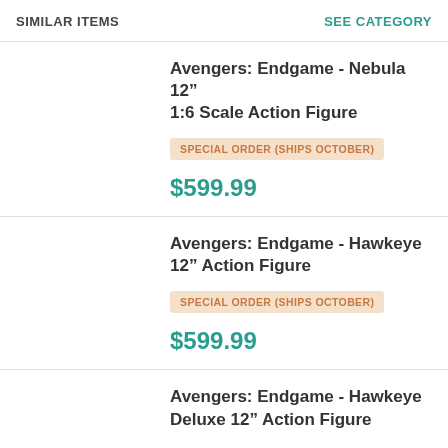SIMILAR ITEMS | SEE CATEGORY
Avengers: Endgame - Nebula 12” 1:6 Scale Action Figure
SPECIAL ORDER (SHIPS OCTOBER)
$599.99
Avengers: Endgame - Hawkeye 12” Action Figure
SPECIAL ORDER (SHIPS OCTOBER)
$599.99
Avengers: Endgame - Hawkeye Deluxe 12” Action Figure